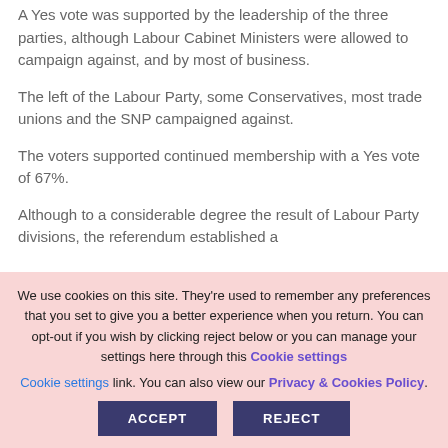A Yes vote was supported by the leadership of the three parties, although Labour Cabinet Ministers were allowed to campaign against, and by most of business.
The left of the Labour Party, some Conservatives, most trade unions and the SNP campaigned against.
The voters supported continued membership with a Yes vote of 67%.
Although to a considerable degree the result of Labour Party divisions, the referendum established a
We use cookies on this site. They're used to remember any preferences that you set to give you a better experience when you return. You can opt-out if you wish by clicking reject below or you can manage your settings here through this Cookie settings link. You can also view our Privacy & Cookies Policy.